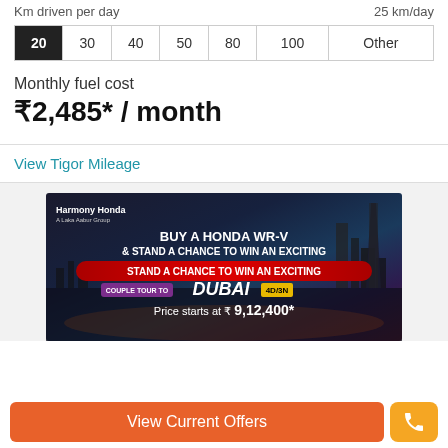Km driven per day — 25 km/day
| 20 | 30 | 40 | 50 | 80 | 100 | Other |
Monthly fuel cost
₹2,485* / month
View Tigor Mileage
[Figure (photo): Harmony Honda advertisement banner: Buy a Honda WR-V & Stand a chance to win an exciting Couple Tour to Dubai 4D/3N. Price starts at ₹9,12,400*]
View Current Offers